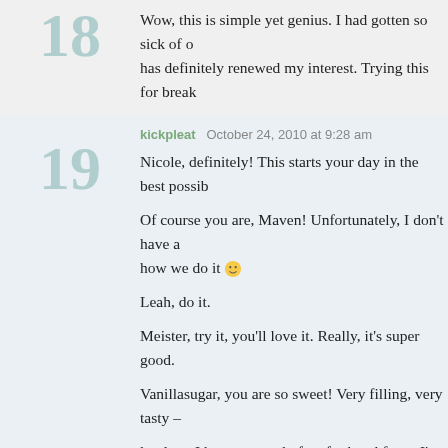Wow, this is simple yet genius. I had gotten so sick of oatmeal but this has definitely renewed my interest. Trying this for break...
kickpleat   October 24, 2010 at 9:28 am
Nicole, definitely! This starts your day in the best possibl...

Of course you are, Maven! Unfortunately, I don't have a... how we do it 🙂

Leah, do it.

Meister, try it, you'll love it. Really, it's super good.

Vanillasugar, you are so sweet! Very filling, very tasty –

lyndsay, I have oatmeal often for breakfast – I'm not a s... blueberries. For me, it's coconut, almonds and dried cra... brown sugar, of course).

Darby, I'm sure you both will love it! Enjoy 🙂

Thanks Jan, you'll love it in your house I'm sure.

Jacqui, ha, you are an oatmeal adventurer!

Jennie, great idea!